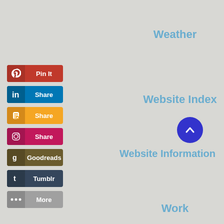Weather
[Figure (infographic): Social sharing buttons: Pinterest Pin It, LinkedIn Share, Blogger Share, Instagram Share, Goodreads, Tumblr, More]
Website Index
Website Information
[Figure (other): Scroll-to-top button: blue circle with upward chevron]
Work